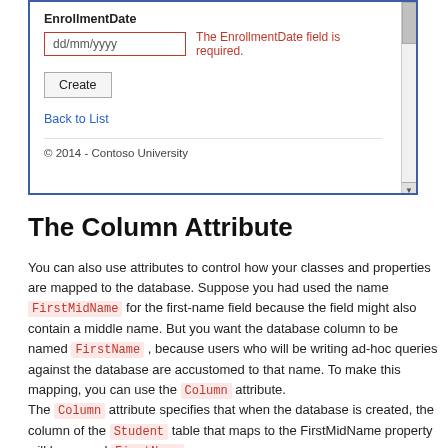[Figure (screenshot): Browser form screenshot showing EnrollmentDate field with red-bordered date input showing 'dd/mm/yyyy', error message 'The EnrollmentDate field is required.', a Create button, a Back to List link, and copyright footer '© 2014 - Contoso University'. Has a scrollbar on the right.]
The Column Attribute
You can also use attributes to control how your classes and properties are mapped to the database. Suppose you had used the name FirstMidName for the first-name field because the field might also contain a middle name. But you want the database column to be named FirstName , because users who will be writing ad-hoc queries against the database are accustomed to that name. To make this mapping, you can use the Column attribute.
The Column attribute specifies that when the database is created, the column of the Student table that maps to the FirstMidName property will be named FirstName .